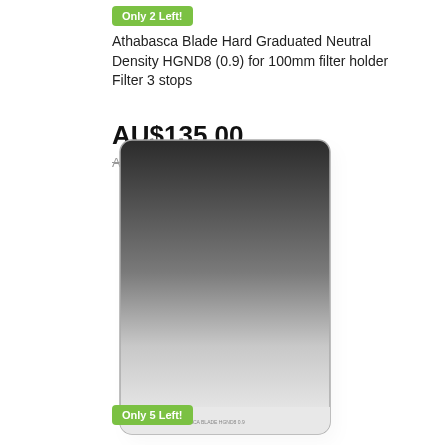Only 2 Left!
Athabasca Blade Hard Graduated Neutral Density HGND8 (0.9) for 100mm filter holder Filter 3 stops
AU$135.00
AU$169.00  20% OFF
[Figure (photo): Rectangular camera lens filter with a hard graduated neutral density gradient, dark charcoal grey at the top fading to clear/white at the bottom, with rounded corners and a thin silver frame.]
Only 5 Left!